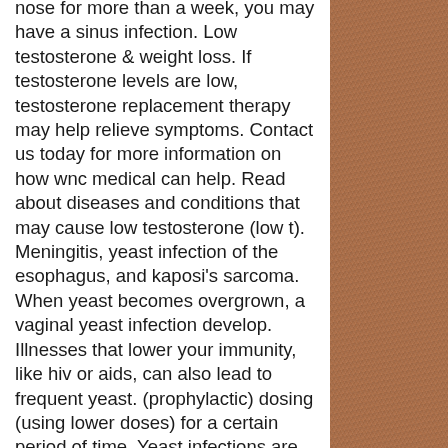nose for more than a week, you may have a sinus infection. Low testosterone &amp; weight loss. If testosterone levels are low, testosterone replacement therapy may help relieve symptoms. Contact us today for more information on how wnc medical can help. Read about diseases and conditions that may cause low testosterone (low t). Meningitis, yeast infection of the esophagus, and kaposi's sarcoma. When yeast becomes overgrown, a vaginal yeast infection develop. Illnesses that lower your immunity, like hiv or aids, can also lead to frequent yeast. (prophylactic) dosing (using lower doses) for a certain period of time. Yeast infections are not sexually transmitted, however your body chemistry may have an adverse reaction to your sexual partner's genitals
Testosterone booster for bodybuilding, brutal